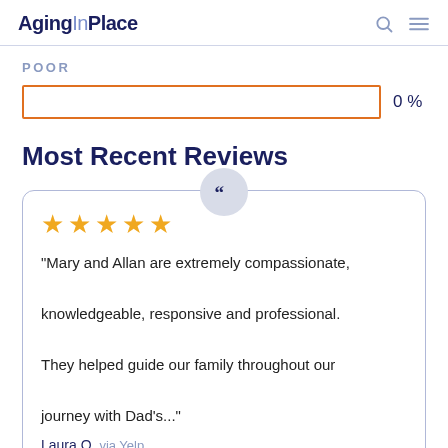AgingInPlace
POOR
0 %
Most Recent Reviews
"Mary and Allan are extremely compassionate, knowledgeable, responsive and professional. They helped guide our family throughout our journey with Dad's..."
Laura O via Yelp